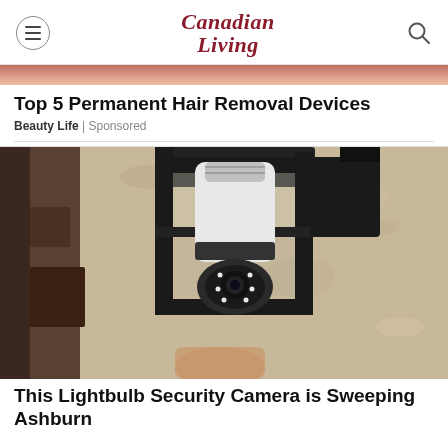Canadian Living
[Figure (photo): Partial view of an image strip showing warm copper/brown tones at the top of the page]
Top 5 Permanent Hair Removal Devices
Beauty Life | Sponsored
[Figure (photo): A security camera shaped like a lightbulb installed in a black outdoor lantern-style wall fixture, mounted on a textured stucco wall. A hand is partially visible at the bottom holding or adjusting the device.]
This Lightbulb Security Camera is Sweeping Ashburn